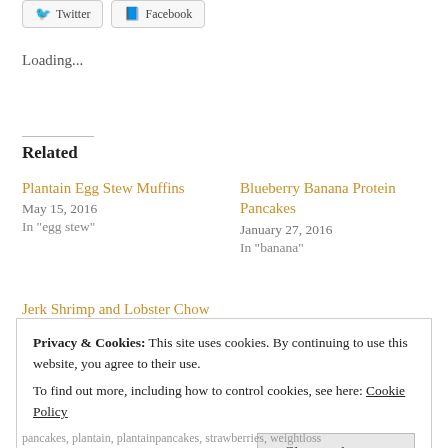[Figure (other): Social share buttons: Twitter and Facebook]
Loading...
Related
Plantain Egg Stew Muffins
May 15, 2016
In "egg stew"
Blueberry Banana Protein Pancakes
January 27, 2016
In "banana"
Jerk Shrimp and Lobster Chow Mein
April 09, 2016
Privacy & Cookies: This site uses cookies. By continuing to use this website, you agree to their use.
To find out more, including how to control cookies, see here: Cookie Policy
Close and accept
pancakes, plantain, plantainpancakes, strawberries, weightloss